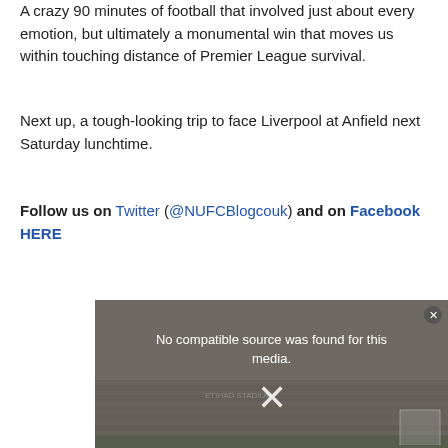A crazy 90 minutes of football that involved just about every emotion, but ultimately a monumental win that moves us within touching distance of Premier League survival.
Next up, a tough-looking trip to face Liverpool at Anfield next Saturday lunchtime.
Follow us on Twitter (@NUFCBlogcouk) and on Facebook HERE
[Figure (screenshot): Video player showing 'No compatible source was found for this media.' message with an X icon over a stadium crowd background image]